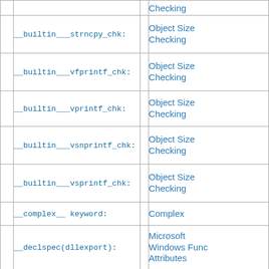|  | Index entry |  | Section |
| --- | --- | --- | --- |
|  | Checking |  |  |
|  | __builtin___strncpy_chk: |  | Object Size Checking |
|  | __builtin___vfprintf_chk: |  | Object Size Checking |
|  | __builtin___vprintf_chk: |  | Object Size Checking |
|  | __builtin___vsnprintf_chk: |  | Object Size Checking |
|  | __builtin___vsprintf_chk: |  | Object Size Checking |
|  | __complex__ keyword: |  | Complex |
|  | __declspec(dllexport): |  | Microsoft Windows Function Attributes |
|  | __declspec(dllimport): |  | Microsoft Windows Function Attributes |
|  | ... |  | ... |